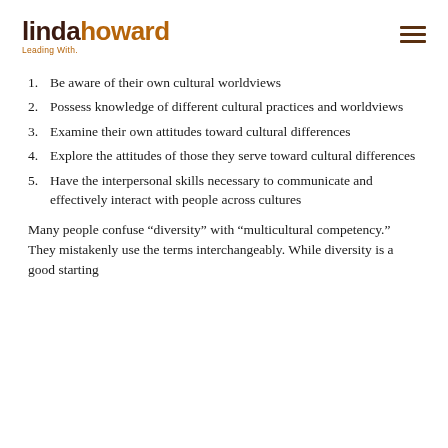lindahoward Leading With.
Be aware of their own cultural worldviews
Possess knowledge of different cultural practices and worldviews
Examine their own attitudes toward cultural differences
Explore the attitudes of those they serve toward cultural differences
Have the interpersonal skills necessary to communicate and effectively interact with people across cultures
Many people confuse “diversity” with “multicultural competency.” They mistakenly use the terms interchangeably. While diversity is a good starting point, diversity alone does not equal multicultural competency.